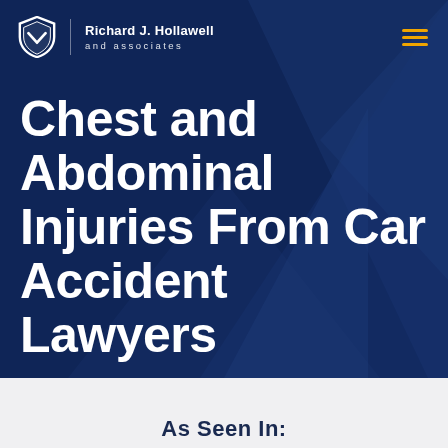Richard J. Hollawell and associates
Chest and Abdominal Injuries From Car Accident Lawyers
As Seen In: